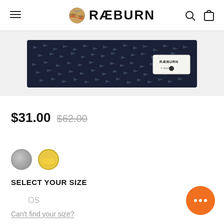RÆBURN
[Figure (photo): Dark navy fabric with small arrow/dart pattern print, showing a RÆBURN label tag in the corner]
$31.00  $62.00
SELECT YOUR SIZE
OS
Can't find your size?